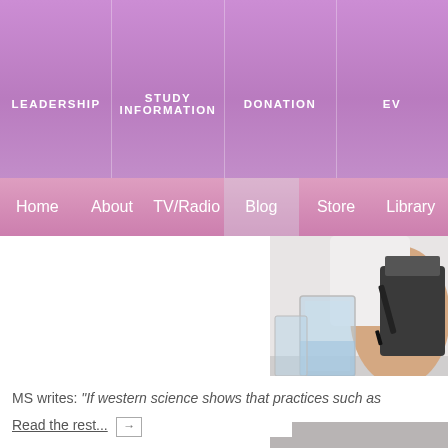LEADERSHIP | STUDY INFORMATION | DONATION | EV...
Home | About | TV/Radio | Blog | Store | Library
[Figure (photo): Laboratory scene: a person in a white lab coat holding a pipette or pen near petri dishes with orange/yellow medium and glass beakers on a metal surface]
MS writes: “If western science shows that practices such as
Read the rest... →